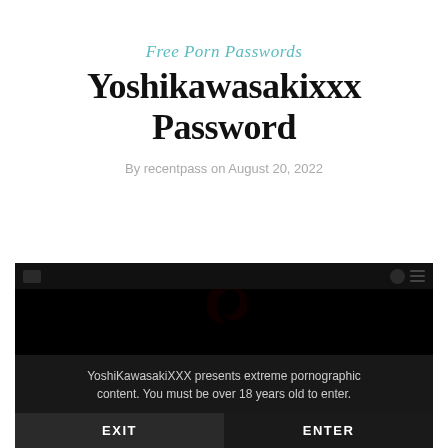Free Porn Passwords
Yoshikawasakixxx Password
By recentpass on August 20, 2022
[Figure (screenshot): Screenshot of YoshiKawasakiXXX website age verification modal on dark background. Shows site logo faintly, with text: 'YoshiKawasakiXXX presents extreme pornographic content. You must be over 18 years old to enter.' and two buttons: EXIT and ENTER.]